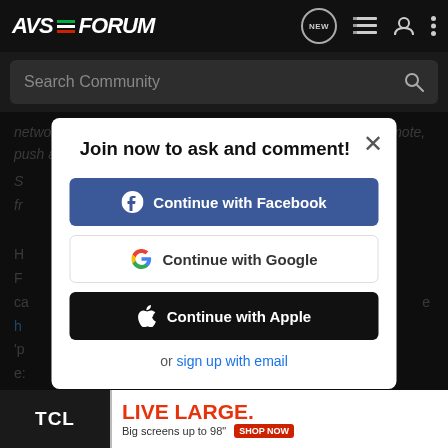AVS FORUM — header navigation bar with logo, NEW button, list icon, user icon, dots icon
Search Community
network), and that's exactly what you would do...grab your remote, push a button and play any song or CD you like. The S... fr...
H... F... ca... e h... 'p... e: h... click on 'C...
Join now to ask and comment!
Continue with Facebook
Continue with Google
Continue with Apple
or sign up with email
[Figure (screenshot): TCL LIVE LARGE advertisement banner — Big screens up to 98" with SHOP NOW button]